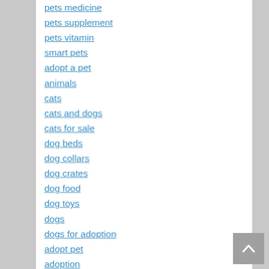pets medicine
pets supplement
pets vitamin
smart pets
adopt a pet
animals
cats
cats and dogs
cats for sale
dog beds
dog collars
dog crates
dog food
dog toys
dogs
dogs for adoption
adopt pet
adoption
animal film
animal world
benefits having pets